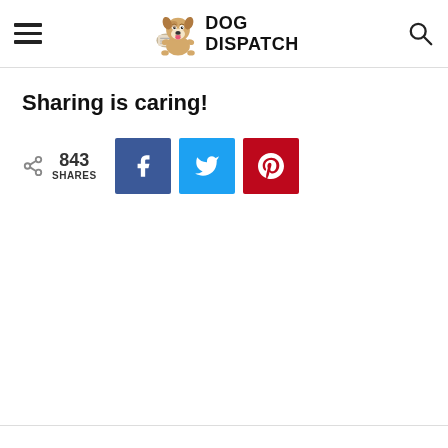DOG DISPATCH
Sharing is caring!
843 SHARES
[Figure (infographic): Social share buttons: Facebook, Twitter, Pinterest with 843 total shares count]